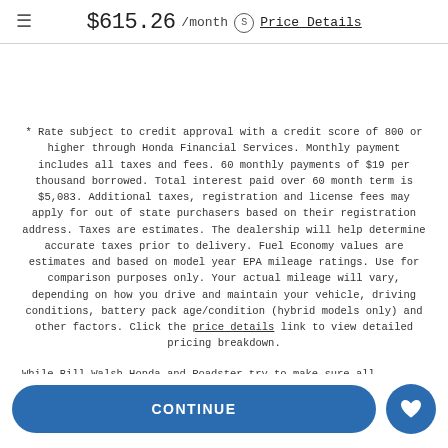$615.26 /month (S) Price Details
* Rate subject to credit approval with a credit score of 800 or higher through Honda Financial Services. Monthly payment includes all taxes and fees. 60 monthly payments of $19 per thousand borrowed. Total interest paid over 60 month term is $5,083. Additional taxes, registration and license fees may apply for out of state purchasers based on their registration address. Taxes are estimates. The dealership will help determine accurate taxes prior to delivery. Fuel Economy values are estimates and based on model year EPA mileage ratings. Use for comparison purposes only. Your actual mileage will vary, depending on how you drive and maintain your vehicle, driving conditions, battery pack age/condition (hybrid models only) and other factors. Click the price details link to view detailed pricing breakdown.
While Bill Walsh Honda and Roadster try to make sure all information posted